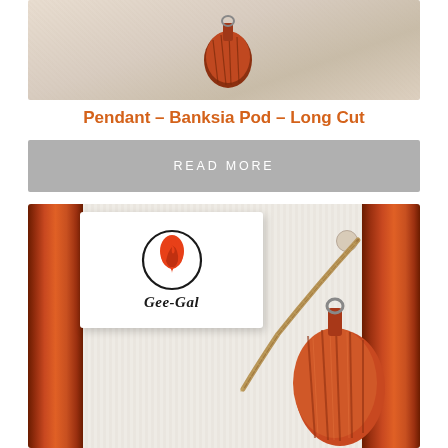[Figure (photo): Close-up photo of a Banksia Pod pendant jewelry item on a textured light background, partially visible at top]
Pendant – Banksia Pod – Long Cut
READ MORE
[Figure (photo): Product photo showing wooden pendants with Gee-Gal brand card tag attached via twine rope, hanging on a white textured wall. Orange and red wood grain pendants visible with branding label.]